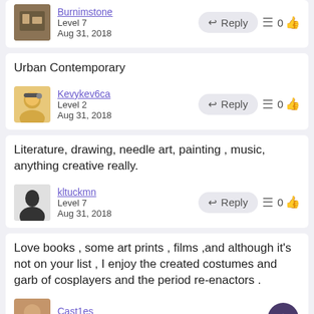Burnimstone
Level 7
Aug 31, 2018
Urban Contemporary
Kevykev6ca
Level 2
Aug 31, 2018
Literature, drawing, needle art, painting , music, anything creative really.
kltuckmn
Level 7
Aug 31, 2018
Love books , some art prints , films ,and although it's not on your list , I enjoy the created costumes and garb of cosplayers and the period re-enactors .
Cast1es
Level 9